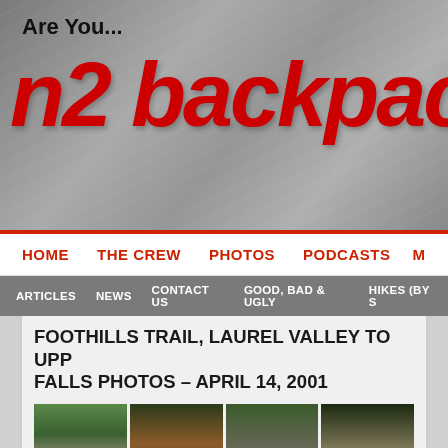Are You... n2 backpacking
HOME  THE CREW  PHOTOS  PODCASTS  M
ARTICLES  NEWS  CONTACT US  GOOD, BAD & UGLY  HIKES (BY S
FOOTHILLS TRAIL, LAUREL VALLEY TO UPP FALLS PHOTOS – APRIL 14, 2001
[Figure (photo): Grid of outdoor/hiking photos from Foothills Trail, Laurel Valley, April 14 2001 — waterfalls, group on bridge, wooded bridges, truck at river crossing, gear, forest scenes]
[Figure (other): reCAPTCHA widget with Privacy and Terms links]